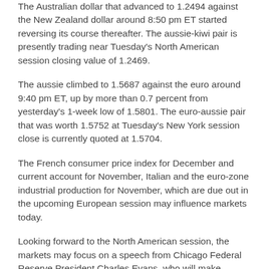The Australian dollar that advanced to 1.2494 against the New Zealand dollar around 8:50 pm ET started reversing its course thereafter. The aussie-kiwi pair is presently trading near Tuesday's North American session closing value of 1.2469.
The aussie climbed to 1.5687 against the euro around 9:40 pm ET, up by more than 0.7 percent from yesterday's 1-week low of 1.5801. The euro-aussie pair that was worth 1.5752 at Tuesday's New York session close is currently quoted at 1.5704.
The French consumer price index for December and current account for November, Italian and the euro-zone industrial production for November, which are due out in the upcoming European session may influence markets today.
Looking forward to the North American session, the markets may focus on a speech from Chicago Federal Reserve President Charles Evans, who will make remarks on the economy and monetary policy.